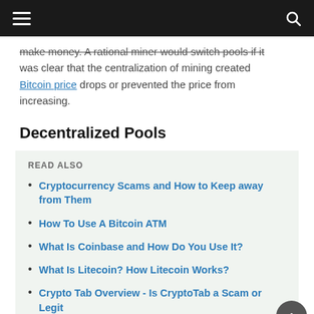make money. A rational miner would switch pools if it was clear that the centralization of mining created Bitcoin price drops or prevented the price from increasing.
Decentralized Pools
READ ALSO
Cryptocurrency Scams and How to Keep away from Them
How To Use A Bitcoin ATM
What Is Coinbase and How Do You Use It?
What Is Litecoin? How Litecoin Works?
Crypto Tab Overview - Is CryptoTab a Scam or Legit